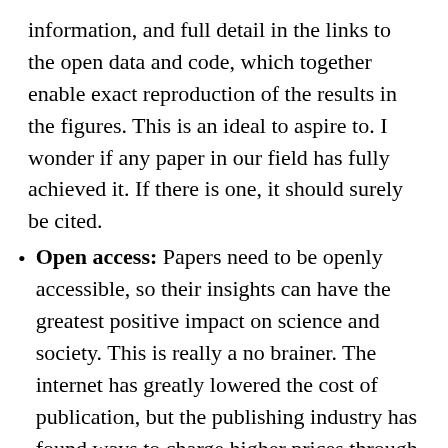information, and full detail in the links to the open data and code, which together enable exact reproduction of the results in the figures. This is an ideal to aspire to. I wonder if any paper in our field has fully achieved it. If there is one, it should surely be cited.
Open access: Papers need to be openly accessible, so their insights can have the greatest positive impact on science and society. This is really a no brainer. The internet has greatly lowered the cost of publication, but the publishing industry has found ways to charge higher prices through a combination of paywalls and unreasonable open-access charges. I would add that every journal contains unique content, so the publishing